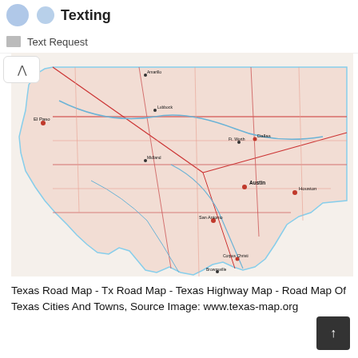Texting
Text Request
[Figure (map): Texas Road Map showing highways, cities, and towns across the state of Texas. Roads shown in red, blue, and other colors. Major cities labeled including El Paso, Austin, Houston, San Antonio, Corpus Christi. Source: www.texas-map.org]
Texas Road Map - Tx Road Map - Texas Highway Map - Road Map Of Texas Cities And Towns, Source Image: www.texas-map.org